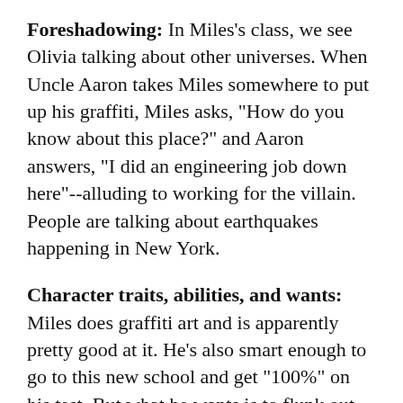Foreshadowing: In Miles's class, we see Olivia talking about other universes. When Uncle Aaron takes Miles somewhere to put up his graffiti, Miles asks, "How do you know about this place?" and Aaron answers, "I did an engineering job down here"--alluding to working for the villain. People are talking about earthquakes happening in New York.
Character traits, abilities, and wants: Miles does graffiti art and is apparently pretty good at it. He's also smart enough to go to this new school and get "100%" on his test. But what he wants is to flunk out and return to his old life and not deal with others' expectations. These are important elements. His skills make him likeable and a want/desire/goal gives a sense of direction